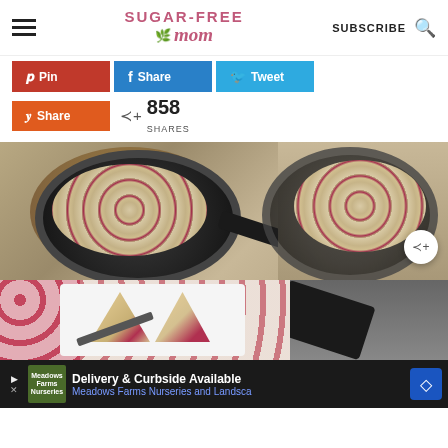Sugar-Free Mom — SUBSCRIBE
[Figure (screenshot): Social sharing buttons: Pin (red), Share (blue/Facebook), Tweet (light blue), Share (orange/Yummly), and share count showing 858 SHARES]
[Figure (photo): Top-down photo of a cranberry or berry skillet pancake/cake in a cast iron skillet on a woven mat, with a slice removed; bottom half shows a white plate with a slice of the cake and a fork, on a floral cloth]
[Figure (photo): Advertisement banner: Meadows Farms Nurseries and Landscape — Delivery & Curbside Available]